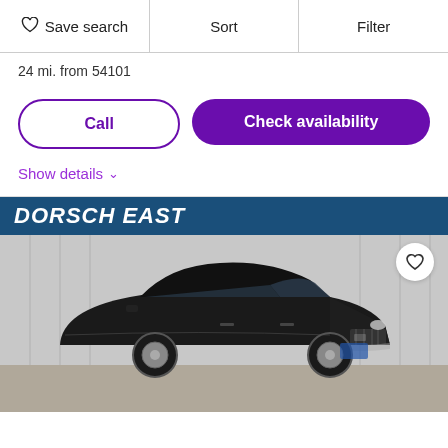Save search | Sort | Filter
24 mi. from 54101
Call | Check availability
Show details
[Figure (photo): Black Lincoln MKX SUV parked indoors in front of a gray curtain backdrop, with a Dorsch East dealership banner at the top of the image and a heart/favorite icon in the top right corner.]